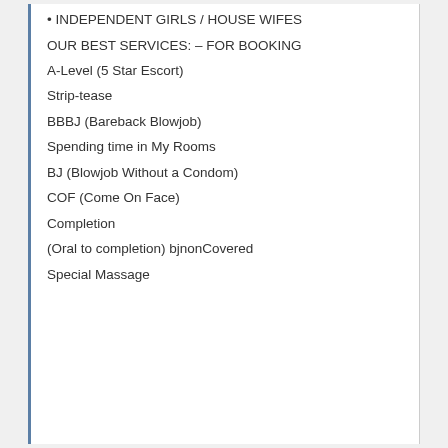• INDEPENDENT GIRLS / HOUSE WIFES
OUR BEST SERVICES: – FOR BOOKING
A-Level (5 Star Escort)
Strip-tease
BBBJ (Bareback Blowjob)
Spending time in My Rooms
BJ (Blowjob Without a Condom)
COF (Come On Face)
Completion
(Oral to completion) bjnonCovered
Special Massage